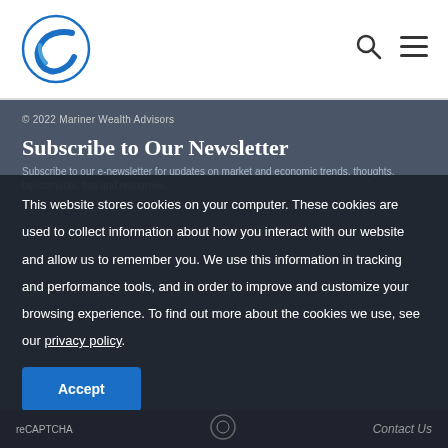[Figure (logo): Mariner Wealth Advisors logo - blue wave/C shape circle]
© 2022 Mariner Wealth Advisors
Subscribe to Our Newsletter
Subscribe to our e-newsletter for updates on market and economic trends, thoughts, benchmarks, tips and resources.
This website stores cookies on your computer. These cookies are used to collect information about how you interact with our website and allow us to remember you. We use this information in tracking and performance tools, and in order to improve and customize your browsing experience. To find out more about the cookies we use, see our privacy policy.
Accept